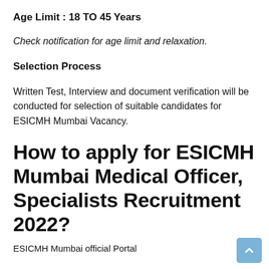Age Limit : 18 TO 45 Years
Check notification for age limit and relaxation.
Selection Process
Written Test, Interview and document verification will be conducted for selection of suitable candidates for ESICMH Mumbai Vacancy.
How to apply for ESICMH Mumbai Medical Officer, Specialists Recruitment 2022?
ESICMH Mumbai official Portal